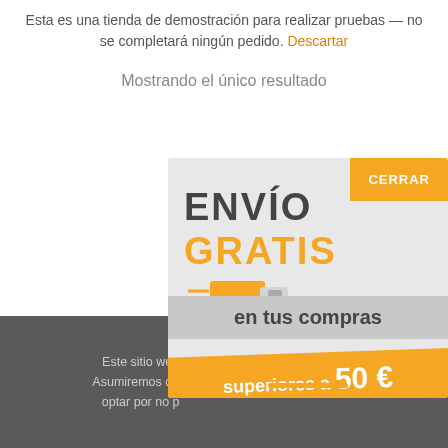Esta es una tienda de demostración para realizar pruebas — no se completará ningún pedido. Descartar
Mostrando el único resultado
[Figure (infographic): Popup advertisement showing 'ENVÍO GRATIS en tus compras superiores a 50€, envíos express' with an orange and grey color scheme, a delivery truck icon, and a CERRAR button in orange.]
Este sitio web utiliza cookies para mejorar tu experiencia. Asumiremos que estás de acuerdo con esto, pero puedes optar por no participar si lo deseas.